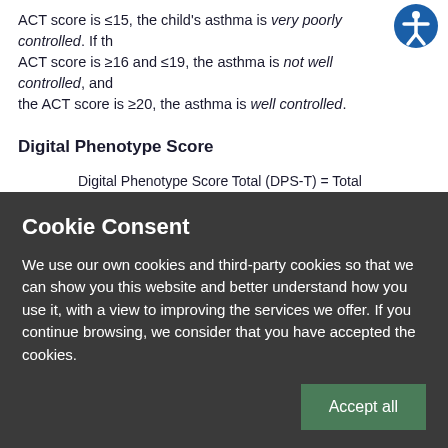ACT score is ≤15, the child's asthma is very poorly controlled. If the ACT score is ≥16 and ≤19, the asthma is not well controlled, and the ACT score is ≥20, the asthma is well controlled.
Digital Phenotype Score
Digital Phenotype Score Total (DPS-T) = Total Symptom Score + Rescue Score + Activity Score + Awakening Score
Digital Phenotype Score Partial (DPS-P)= Partial
Cookie Consent
We use our own cookies and third-party cookies so that we can show you this website and better understand how you use it, with a view to improving the services we offer. If you continue browsing, we consider that you have accepted the cookies.